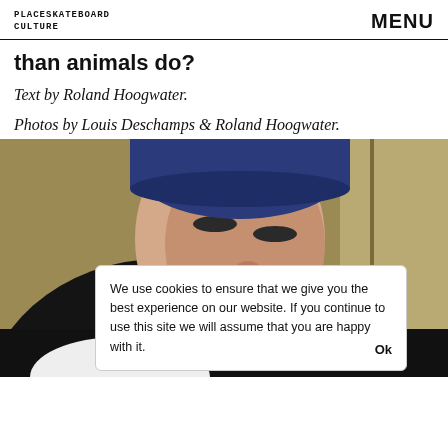PLACESKATEBOARD CULTURE | MENU
than animals do?
Text by Roland Hoogwater.
Photos by Louis Deschamps & Roland Hoogwater.
[Figure (photo): Close-up photo of a young man wearing a dark navy t-shirt and a blue beanie hat, looking downward, photographed from above. Background shows a yellowish-green and grey surface.]
We use cookies to ensure that we give you the best experience on our website. If you continue to use this site we will assume that you are happy with it. Ok